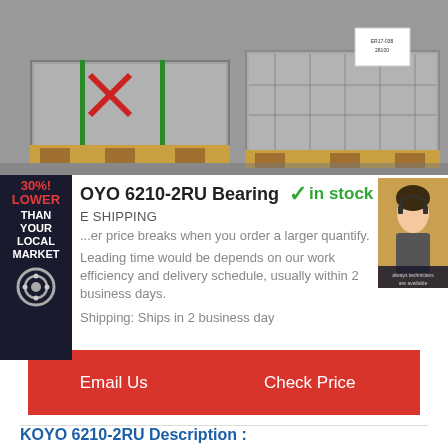[Figure (photo): Warehouse photo showing two pallets wrapped in grey/silver packaging secured with green straps on wooden pallets, one pallet has a white label tag.]
[Figure (infographic): Sidebar banner with dark background showing '30%! LOWER THAN YOUR LOCAL MARKET' text in red/white, with a bearing icon at the bottom.]
[Figure (photo): Small thumbnail image of a customer service representative (woman) on a brown background.]
KOYO 6210-2RU Bearing  ✓in stock
FREE SHIPPING
...er price breaks when you order a larger quantify.
Leading time would be depends on our work efficiency and delivery schedule, usually within 2 business days.
Shipping: Ships in 2 business day
Email Us
Check Price
KOYO 6210-2RU Description :